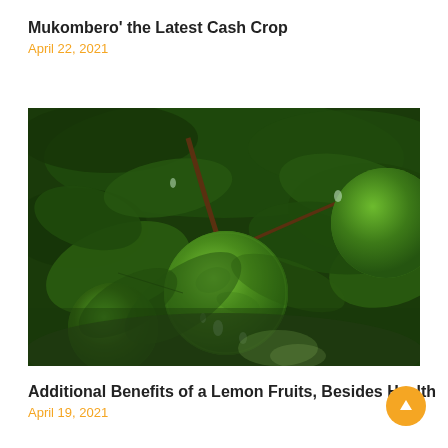Mukombero' the Latest Cash Crop
April 22, 2021
[Figure (photo): Close-up photograph of green lime fruits hanging on a tree branch with dark green leaves, with water droplets visible on the fruit and leaves.]
Additional Benefits of a Lemon Fruits, Besides Health
April 19, 2021